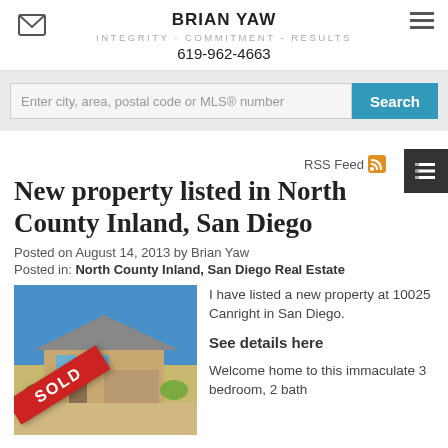BRIAN YAW
INTEGRITY - COMMITMENT - RESULTS
619-962-4663
Enter city, area, postal code or MLS® number
RSS Feed
New property listed in North County Inland, San Diego
Posted on August 14, 2013 by Brian Yaw
Posted in: North County Inland, San Diego Real Estate
[Figure (photo): House exterior photo with SOLD banner overlay]
I have listed a new property at 10025 Canright in San Diego.
See details here
Welcome home to this immaculate 3 bedroom, 2 bath